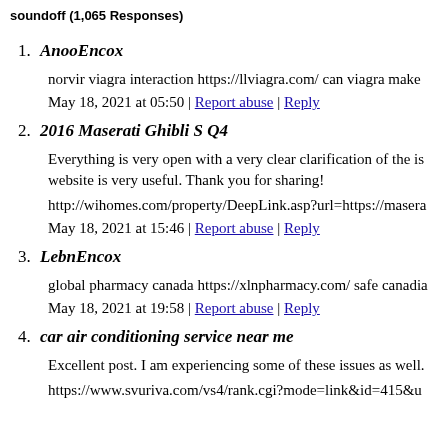soundoff (1,065 Responses)
1. AnooEncox
norvir viagra interaction https://llviagra.com/ can viagra make
May 18, 2021 at 05:50 | Report abuse | Reply
2. 2016 Maserati Ghibli S Q4
Everything is very open with a very clear clarification of the is website is very useful. Thank you for sharing!
http://wihomes.com/property/DeepLink.asp?url=https://masera
May 18, 2021 at 15:46 | Report abuse | Reply
3. LebnEncox
global pharmacy canada https://xlnpharmacy.com/ safe canadia
May 18, 2021 at 19:58 | Report abuse | Reply
4. car air conditioning service near me
Excellent post. I am experiencing some of these issues as well.
https://www.svuriva.com/vs4/rank.cgi?mode=link&id=415&u